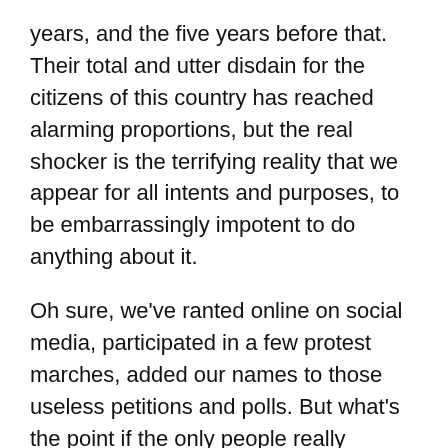years, and the five years before that. Their total and utter disdain for the citizens of this country has reached alarming proportions, but the real shocker is the terrifying reality that we appear for all intents and purposes, to be embarrassingly impotent to do anything about it.
Oh sure, we've ranted online on social media, participated in a few protest marches, added our names to those useless petitions and polls. But what's the point if the only people really listening are those most affected, not the perps. Preaching to the choir, what?
The awful truth is that the politicians in charge don't give a shit. If anyone has not realised this by now, they're immensely dense.
We only have a fleeting hold on power – on election day